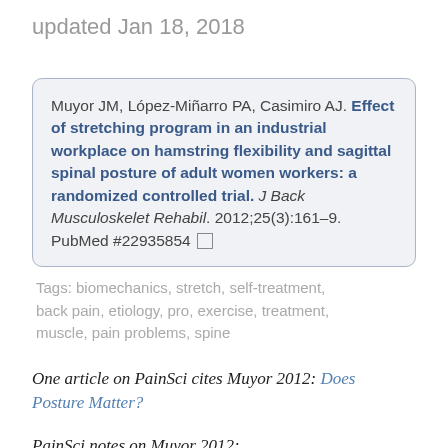updated Jan 18, 2018
Muyor JM, López-Miñarro PA, Casimiro AJ. Effect of stretching program in an industrial workplace on hamstring flexibility and sagittal spinal posture of adult women workers: a randomized controlled trial. J Back Musculoskelet Rehabil. 2012;25(3):161–9. PubMed #22935854
Tags: biomechanics, stretch, self-treatment, back pain, etiology, pro, exercise, treatment, muscle, pain problems, spine
One article on PainSci cites Muyor 2012: Does Posture Matter?
PainSci notes on Muyor 2012:
This experiment found that a typical stretching